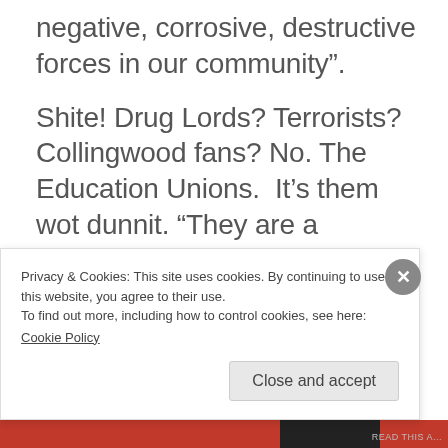negative, corrosive, destructive forces in our community”.
Shite! Drug Lords? Terrorists? Collingwood fans? No. The Education Unions.  It’s them wot dunnit. “They are a disgrace and have systematically worked to destroy cultures of excellence within public schools”. Wow! Who’da thunk it?
Students shouldn’t be running for help as
Privacy & Cookies: This site uses cookies. By continuing to use this website, you agree to their use.
To find out more, including how to control cookies, see here:
Cookie Policy
Close and accept